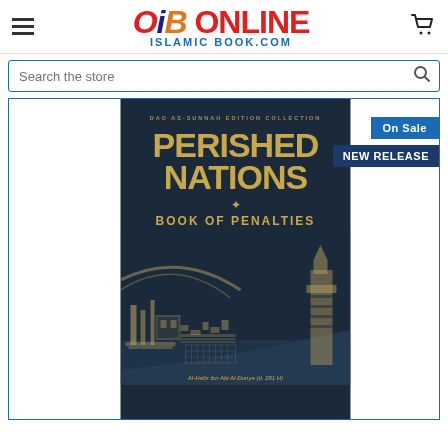[Figure (logo): OiB Online Islamic Book.com logo with hamburger menu and cart icon]
Search the store
[Figure (photo): Book cover of 'Perished Nations - Book of Penalties' by Al-Hafiz ibn Abi Al-Dunya (d. 281 H), dark navy background with golden title text and architectural illustration, with 'On Sale' and 'NEW RELEASE' badges]